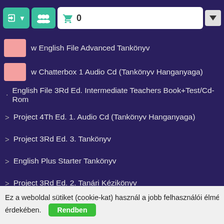Login | Groups | Cart 0
w English File Advanced Tankönyv
w Chatterbox 1 Audio Cd (Tankönyv Hanganyaga)
English File 3Rd Ed. Intermediate Teachers Book+Test/Cd-Rom
Project 4Th Ed. 1. Audio Cd (Tankönyv Hanganyaga)
Project 3Rd Ed. 3. Tankönyv
English Plus Starter Tankönyv
Project 3Rd Ed. 2. Tanári Kézikönyv
New Headway Elementary 3Rd Ed. Workbook Audio Cd *
New Headway Elementary 4Th Ed. Audio Cd (Tankönyv Hanganyaga)
Project 3Rd Ed. 1. Audio Cd (Tankönyv Hanganyaga)
New Horizons 1 Tankönyv + Cd-Rom
New Chatterbox 1 Munkafüzet
Project 4Th Ed. 1. Mu... (partially visible)
Ez a weboldal sütiket (cookie-kat) használ a jobb felhasználói élmény érdekében. Rendben